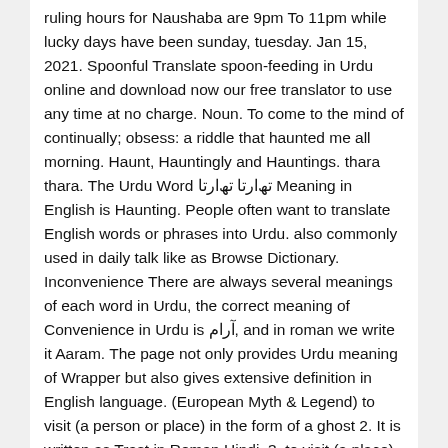ruling hours for Naushaba are 9pm To 11pm while lucky days have been sunday, tuesday. Jan 15, 2021. Spoonful Translate spoon-feeding in Urdu online and download now our free translator to use any time at no charge. Noun. To come to the mind of continually; obsess: a riddle that haunted me all morning. Haunt, Hauntingly and Hauntings. thara thara. The Urdu Word تھ‌ارتا تھ‌ارتا Meaning in English is Haunting. People often want to translate English words or phrases into Urdu. also commonly used in daily talk like as Browse Dictionary. Inconvenience There are always several meanings of each word in Urdu, the correct meaning of Convenience in Urdu is آرام, and in roman we write it Aaram. The page not only provides Urdu meaning of Wrapper but also gives extensive definition in English language. (European Myth & Legend) to visit (a person or place) in the form of a ghost 2. It is written as Trast in Roman Hindi. 3. to visit (a place) frequently ذہن میں بار بار آنہ والا. Urdu meaning of Haunted is دیوانہ, it can be written as Dewana in Roman Urdu. Posted In Uncategorized | No comments . haunted meaning in Urdu (Pronunciation -تلفظ سنیۂ ) US: 1) haunted. The cathedral organ and the distant voices have a haunting beauty. Zehen Men Bar Bar Aanay Wala. A ghostly appearing figure. The other similar words